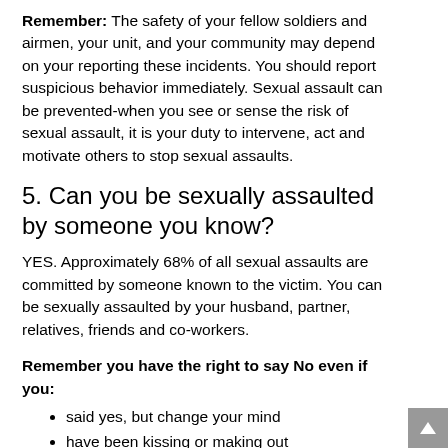Remember: The safety of your fellow soldiers and airmen, your unit, and your community may depend on your reporting these incidents. You should report suspicious behavior immediately. Sexual assault can be prevented-when you see or sense the risk of sexual assault, it is your duty to intervene, act and motivate others to stop sexual assaults.
5. Can you be sexually assaulted by someone you know?
YES. Approximately 68% of all sexual assaults are committed by someone known to the victim. You can be sexually assaulted by your husband, partner, relatives, friends and co-workers.
Remember you have the right to say No even if you:
said yes, but change your mind
have been kissing or making out